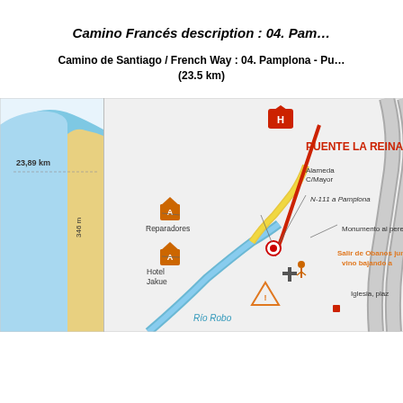Camino Francés description : 04. Pam…
Camino de Santiago / French Way : 04. Pamplona - Pu… (23.5 km)
[Figure (map): Map section showing Puente La Reina/Gares with elevation profile on left (23.89 km, 346 m), route map showing locations: Hotel Jakue, Reparadores, Alameda C/Mayor, N-111 a Pamplona, Monumento al pere…, Salir de Obanos jun… vino bajando a…, Iglesia plaz…, Río Robo label. Map includes pilgrim route markings, church symbols, accommodation icons (H and A markers).]